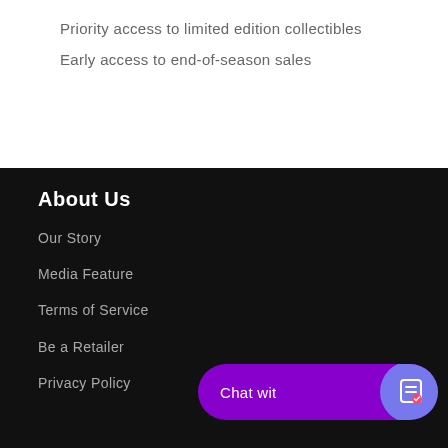Priority access to limited edition collectibles
Early access to end-of-season sales
About Us
Our Story
Media Feature
Terms of Service
Be a Retailer
Privacy Policy